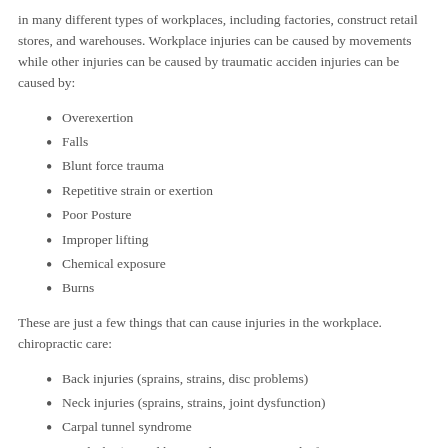in many different types of workplaces, including factories, construct retail stores, and warehouses. Workplace injuries can be caused by movements while other injuries can be caused by traumatic acciden injuries can be caused by:
Overexertion
Falls
Blunt force trauma
Repetitive strain or exertion
Poor Posture
Improper lifting
Chemical exposure
Burns
These are just a few things that can cause injuries in the workplace. chiropractic care:
Back injuries (sprains, strains, disc problems)
Neck injuries (sprains, strains, joint dysfunction)
Carpal tunnel syndrome
Headache (caused by muscle tension, joint dysfunction, or poor
Bursitis